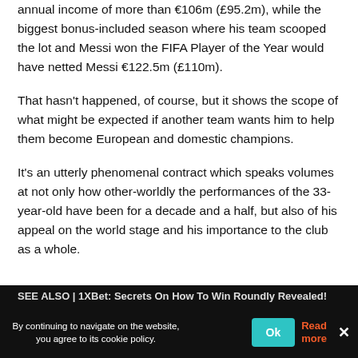annual income of more than €106m (£95.2m), while the biggest bonus-included season where his team scooped the lot and Messi won the FIFA Player of the Year would have netted Messi €122.5m (£110m).
That hasn't happened, of course, but it shows the scope of what might be expected if another team wants him to help them become European and domestic champions.
It's an utterly phenomenal contract which speaks volumes at not only how other-worldly the performances of the 33-year-old have been for a decade and a half, but also of his appeal on the world stage and his importance to the club as a whole.
SEE ALSO | 1XBet: Secrets On How To Win Roundly Revealed!
By continuing to navigate on the website, you agree to its cookie policy.